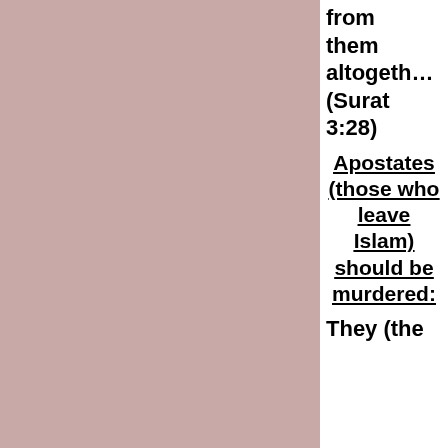from them altogether (Surat 3:28)
Apostates (those who leave Islam) should be murdered:
They (the